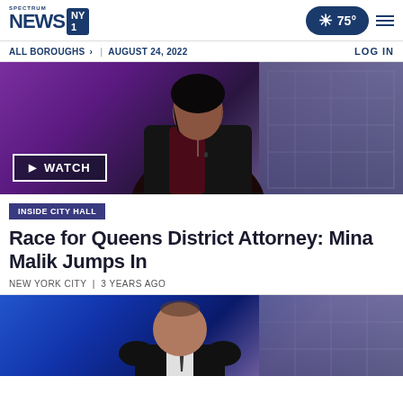Spectrum News NY1 | 75° | ALL BOROUGHS > | AUGUST 24, 2022 | LOG IN
[Figure (photo): News anchor woman in dark blazer at studio desk with purple background and city building backdrop. WATCH button overlay in bottom left.]
INSIDE CITY HALL
Race for Queens District Attorney: Mina Malik Jumps In
NEW YORK CITY | 3 YEARS AGO
[Figure (photo): Male news anchor at studio desk with blue and purple background.]